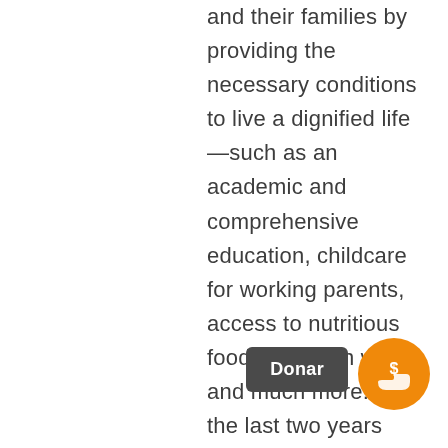and their families by providing the necessary conditions to live a dignified life—such as an academic and comprehensive education, childcare for working parents, access to nutritious food and clean water, and much more. But the last two years have been particularly challenging. The COVID-19 pandemic and the two category four hurricanes, Eta and Iota, that took place at the end of 2020 are only some of the recent catastrophic events that communities across Honduras without access to the most